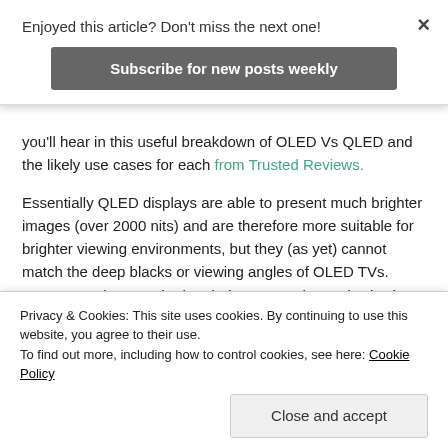Enjoyed this article? Don't miss the next one!
Subscribe for new posts weekly
you'll hear in this useful breakdown of OLED Vs QLED and the likely use cases for each from Trusted Reviews.
Essentially QLED displays are able to present much brighter images (over 2000 nits) and are therefore more suitable for brighter viewing environments, but they (as yet) cannot match the deep blacks or viewing angles of OLED TVs. OLED's are better suited to darker, more cinematic viewing
Privacy & Cookies: This site uses cookies. By continuing to use this website, you agree to their use.
To find out more, including how to control cookies, see here: Cookie Policy
Close and accept
turn off – hence the deep blacks – without a separate li